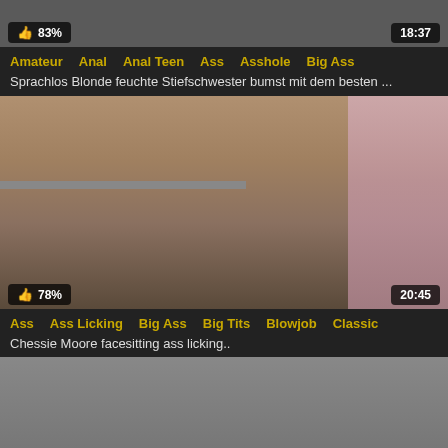[Figure (screenshot): Partial video thumbnail at top of page, cropped, showing dark scene. Overlay shows thumbs-up icon with 83% rating on left and duration 18:37 on right.]
Amateur  Anal  Anal Teen  Ass  Asshole  Big Ass
Sprachlos Blonde feuchte Stiefschwester bumst mit dem besten ...
[Figure (screenshot): Video thumbnail showing a blonde woman with large breasts in a black garment straddling a person, in an indoor setting with pink curtains. Overlay shows thumbs-up icon with 78% rating on left and duration 20:45 on right.]
Ass  Ass Licking  Big Ass  Big Tits  Blowjob  Classic
Chessie Moore facesitting ass licking..
[Figure (screenshot): Partial video thumbnail at bottom of page, cropped, barely visible.]